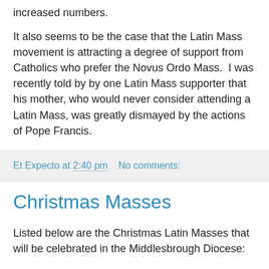increased numbers.
It also seems to be the case that the Latin Mass movement is attracting a degree of support from Catholics who prefer the Novus Ordo Mass.  I was recently told by by one Latin Mass supporter that his mother, who would never consider attending a Latin Mass, was greatly dismayed by the actions of Pope Francis.
Et Expecto at 2:40 pm    No comments:
Christmas Masses
Listed below are the Christmas Latin Masses that will be celebrated in the Middlesbrough Diocese:
Mass at Midnight
The York Oratory, Sung Mass, preceded by carols at